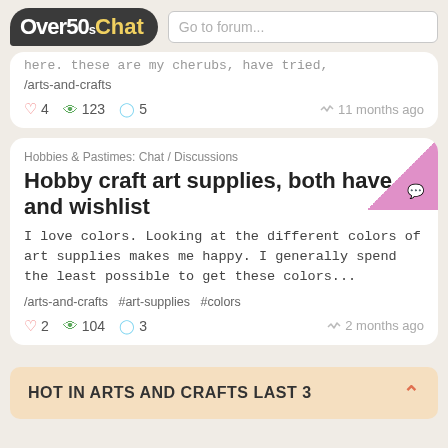Over50s Chat | Go to forum...
here. these are my cherubs, have tried, /arts-and-crafts
4 likes, 123 views, 5 comments, 11 months ago
Hobbies & Pastimes: Chat / Discussions
Hobby craft art supplies, both have and wishlist
I love colors. Looking at the different colors of art supplies makes me happy. I generally spend the least possible to get these colors...
/arts-and-crafts  #art-supplies  #colors
2 likes, 104 views, 3 comments, 2 months ago
HOT IN ARTS AND CRAFTS LAST 3